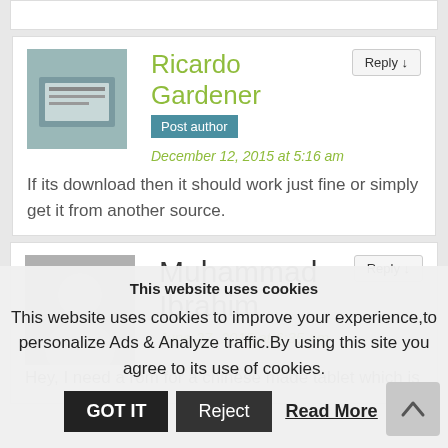Ricardo Gardener
Post author
December 12, 2015 at 5:16 am
If its download then it should work just fine or simply get it from another source.
Muhammad Ibrahim
June 27, 2015 at 6:35 am
Hey, I need a rom for a chinese made tablet which is
This website uses cookies
This website uses cookies to improve your experience,to personalize Ads & Analyze traffic.By using this site you agree to its use of cookies.